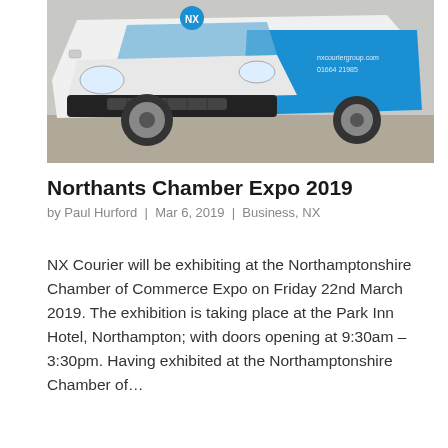[Figure (photo): White and blue branded van (NX Courier / Renault Trafic) photographed from a low front-left angle on a paved surface.]
Northants Chamber Expo 2019
by Paul Hurford | Mar 6, 2019 | Business, NX
NX Courier will be exhibiting at the Northamptonshire Chamber of Commerce Expo on Friday 22nd March 2019. The exhibition is taking place at the Park Inn Hotel, Northampton; with doors opening at 9:30am – 3:30pm. Having exhibited at the Northamptonshire Chamber of…
« Older Entries